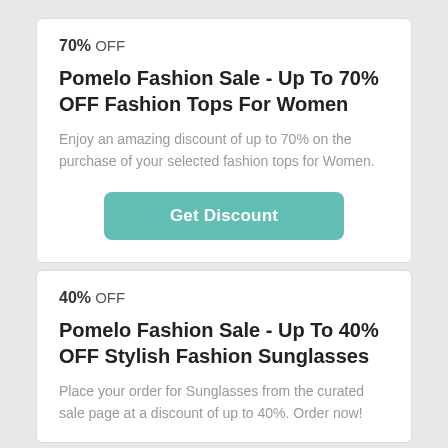70% OFF
Pomelo Fashion Sale - Up To 70% OFF Fashion Tops For Women
Enjoy an amazing discount of up to 70% on the purchase of your selected fashion tops for Women.
Get Discount
40% OFF
Pomelo Fashion Sale - Up To 40% OFF Stylish Fashion Sunglasses
Place your order for Sunglasses from the curated sale page at a discount of up to 40%. Order now!